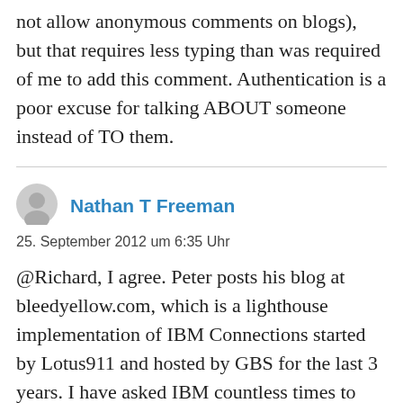not allow anonymous comments on blogs), but that requires less typing than was required of me to add this comment. Authentication is a poor excuse for talking ABOUT someone instead of TO them.
Nathan T Freeman
25. September 2012 um 6:35 Uhr
@Richard, I agree. Peter posts his blog at bleedyellow.com, which is a lighthouse implementation of IBM Connections started by Lotus911 and hosted by GBS for the last 3 years. I have asked IBM countless times to support anonymous contributions in